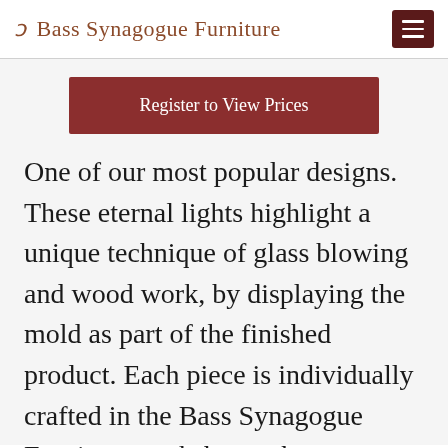Bass Synagogue Furniture
Register to View Prices
One of our most popular designs. These eternal lights highlight a unique technique of glass blowing and wood work, by displaying the mold as part of the finished product. Each piece is individually crafted in the Bass Synagogue Furniture workshop to best combine the wood and glass